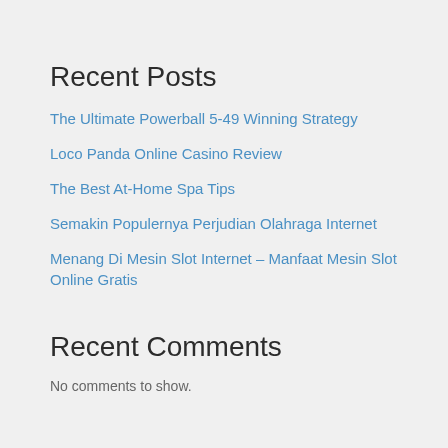Recent Posts
The Ultimate Powerball 5-49 Winning Strategy
Loco Panda Online Casino Review
The Best At-Home Spa Tips
Semakin Populernya Perjudian Olahraga Internet
Menang Di Mesin Slot Internet – Manfaat Mesin Slot Online Gratis
Recent Comments
No comments to show.